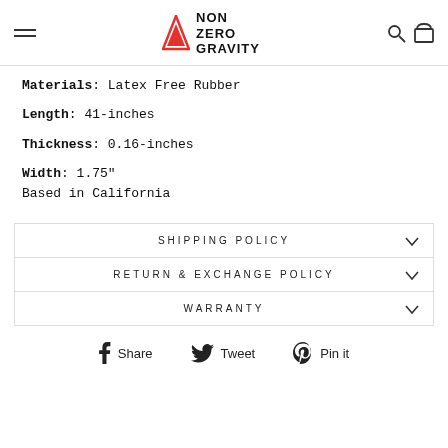NON ZERO GRAVITY
Materials: Latex Free Rubber
Length: 41-inches
Thickness: 0.16-inches
Width: 1.75"
Based in California
SHIPPING POLICY
RETURN & EXCHANGE POLICY
WARRANTY
Share   Tweet   Pin it